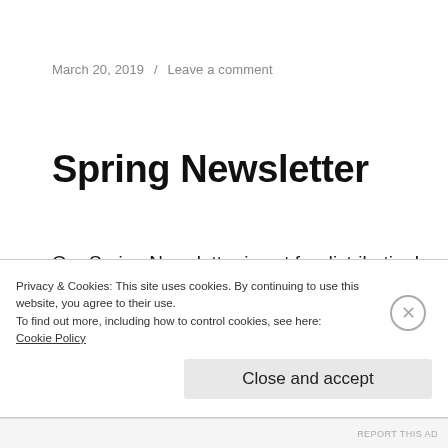March 20, 2019 / Leave a comment
Spring Newsletter
Our Spring Newsletter is out for distribution! Our volunteers are working hard to get a copy to your door. It is trickier for us to get you a
Privacy & Cookies: This site uses cookies. By continuing to use this website, you agree to their use.
To find out more, including how to control cookies, see here:
Cookie Policy
Close and accept